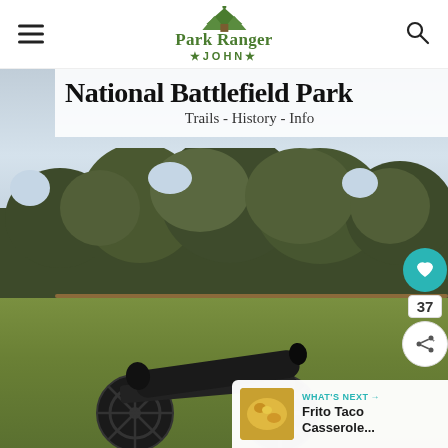Park Ranger John
[Figure (photo): National Battlefield Park scene with a historic cannon in the foreground, bare winter trees and treeline in background, green grass field, overcast sky. Page from Park Ranger John website.]
National Battlefield Park
Trails - History - Info
37
WHAT'S NEXT → Frito Taco Casserole...